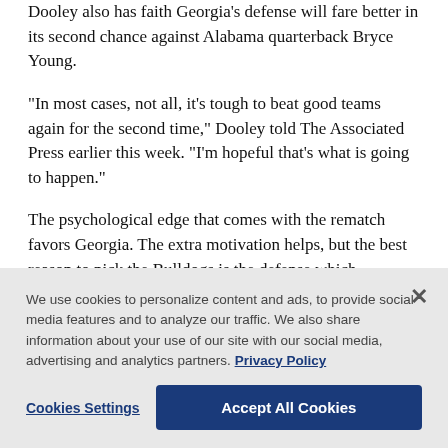Dooley also has faith Georgia's defense will fare better in its second chance against Alabama quarterback Bryce Young.
“In most cases, not all, it’s tough to beat good teams again for the second time,” Dooley told The Associated Press earlier this week. “I’m hopeful that’s what is going to happen.”
The psychological edge that comes with the rematch favors Georgia. The extra motivation helps, but the best reason to pick the Bulldogs is the defense which
We use cookies to personalize content and ads, to provide social media features and to analyze our traffic. We also share information about your use of our site with our social media, advertising and analytics partners. Privacy Policy